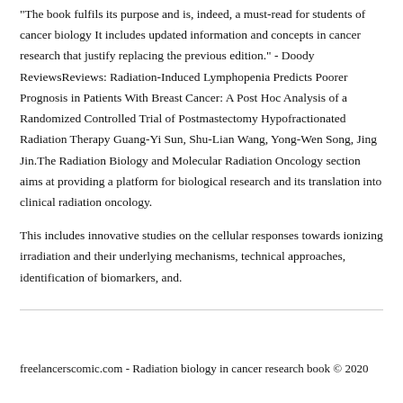"The book fulfils its purpose and is, indeed, a must-read for students of cancer biology It includes updated information and concepts in cancer research that justify replacing the previous edition." - Doody ReviewsReviews: Radiation-Induced Lymphopenia Predicts Poorer Prognosis in Patients With Breast Cancer: A Post Hoc Analysis of a Randomized Controlled Trial of Postmastectomy Hypofractionated Radiation Therapy Guang-Yi Sun, Shu-Lian Wang, Yong-Wen Song, Jing Jin.The Radiation Biology and Molecular Radiation Oncology section aims at providing a platform for biological research and its translation into clinical radiation oncology.

This includes innovative studies on the cellular responses towards ionizing irradiation and their underlying mechanisms, technical approaches, identification of biomarkers, and.
freelancerscomic.com - Radiation biology in cancer research book © 2020